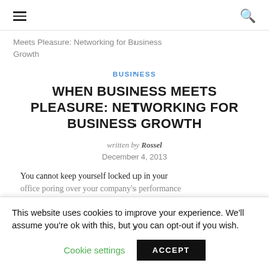≡  🔍
Meets Pleasure: Networking for Business Growth
BUSINESS
WHEN BUSINESS MEETS PLEASURE: NETWORKING FOR BUSINESS GROWTH
written by Rossel
December 4, 2013
You cannot keep yourself locked up in your office poring over your company's performance
This website uses cookies to improve your experience. We'll assume you're ok with this, but you can opt-out if you wish.
Cookie settings   ACCEPT